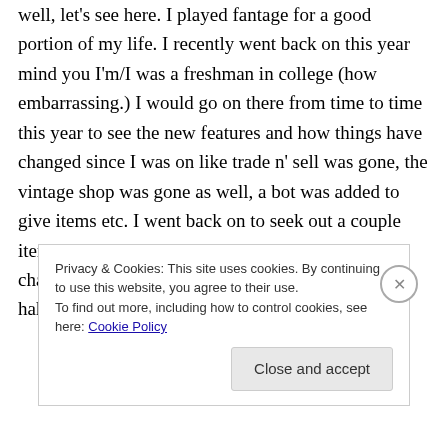well, let's see here. I played fantage for a good portion of my life. I recently went back on this year mind you I'm/I was a freshman in college (how embarrassing.) I would go on there from time to time this year to see the new features and how things have changed since I was on like trade n' sell was gone, the vintage shop was gone as well, a bot was added to give items etc. I went back on to seek out a couple items I've always wanted to own but never got a chance to like Pb hat and chalkboard for example haha.
Privacy & Cookies: This site uses cookies. By continuing to use this website, you agree to their use.
To find out more, including how to control cookies, see here: Cookie Policy